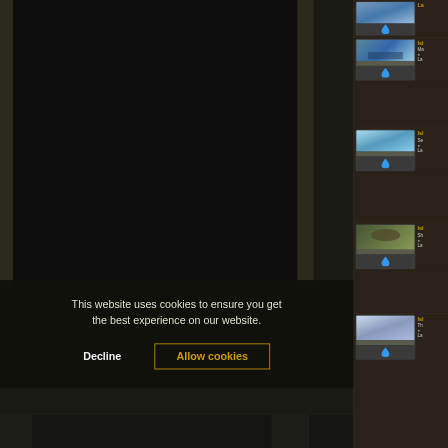[Figure (screenshot): Magic: The Gathering card database website screenshot showing a cookie consent overlay on a dark-themed interface. The main area shows a dark card viewer panel on the left and a sidebar on the right with Island card thumbnails (blue water drop symbol) each showing scenic artwork of islands/water. The cookie banner appears at the bottom of the screen.]
This website uses cookies to ensure you get the best experience on our website.
Decline
Allow cookies
Isl
Ma
La
Isl
Se
La
Isl
Sh
La
Isl
Th
La